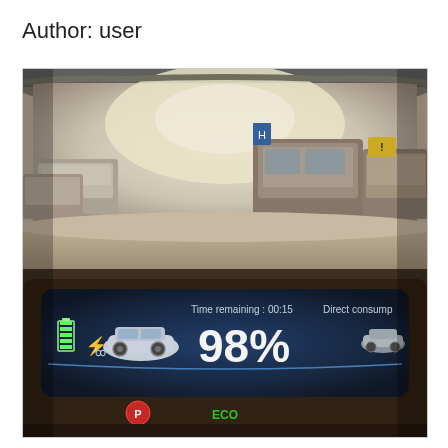Author: user
[Figure (photo): Photo taken from inside a car. The top half shows a view through the windshield of a parking lot with several cars and a van visible. The bottom half shows the car's dashboard display panel showing a charging screen with a battery icon, plug icon, Renault ZOE car icon, '98%' charge level in large white text, 'Time remaining : 00:15', 'Direct consump' (partially visible), a red P indicator, and a green ECO indicator.]